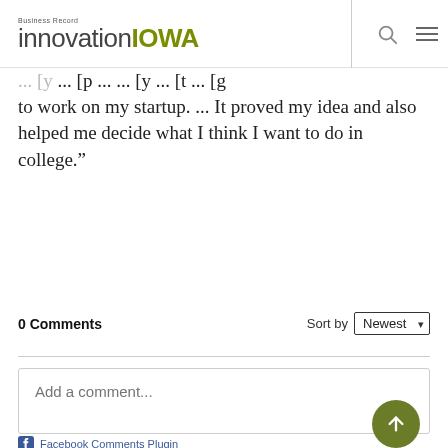Business Record innovationIOWA
to work on my startup. ... It proved my idea and also helped me decide what I think I want to do in college.”
0 Comments  Sort by Newest
Add a comment...
Facebook Comments Plugin